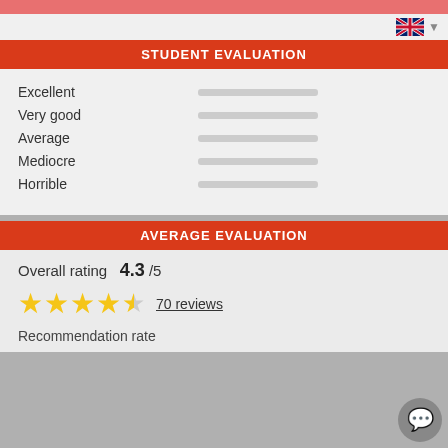STUDENT EVALUATION
Excellent
Very good
Average
Mediocre
Horrible
AVERAGE EVALUATION
Overall rating  4.3 /5
70 reviews
Recommendation rate